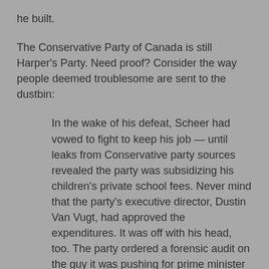he built.
The Conservative Party of Canada is still Harper's Party. Need proof? Consider the way people deemed troublesome are sent to the dustbin:
In the wake of his defeat, Scheer had vowed to fight to keep his job — until leaks from Conservative party sources revealed the party was subsidizing his children's private school fees. Never mind that the party's executive director, Dustin Van Vugt, had approved the expenditures. It was off with his head, too. The party ordered a forensic audit on the guy it was pushing for prime minister just a few short months earlier — honest, affable, trustworthy Andy.
It's not clear who leaked the damaging information, known only to relatively few in the party.